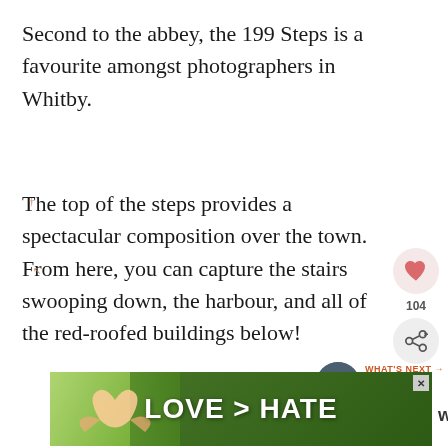Second to the abbey, the 199 Steps is a favourite amongst photographers in Whitby.
The top of the steps provides a spectacular composition over the town. From here, you can capture the stairs swooping down, the harbour, and all of the red-roofed buildings below!
[Figure (infographic): Social interaction buttons: heart/like button with count 104, and share button]
[Figure (infographic): What's Next widget showing thumbnail image and text '12+ Amazing Most...' with orange label 'WHAT'S NEXT →']
[Figure (infographic): Advertisement banner with green background showing hands forming heart shape and text 'LOVE > HATE' with close button X]